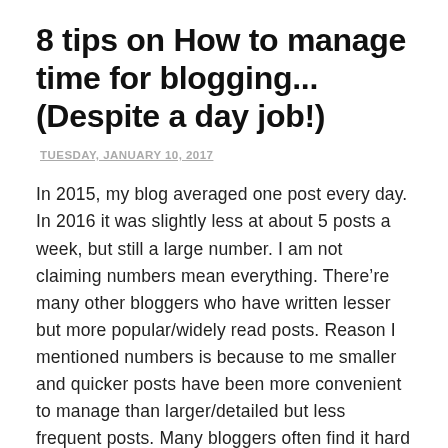8 tips on How to manage time for blogging... (Despite a day job!)
TUESDAY, JANUARY 10, 2017
In 2015, my blog averaged one post every day. In 2016 it was slightly less at about 5 posts a week, but still a large number. I am not claiming numbers mean everything. There’re many other bloggers who have written lesser but more popular/widely read posts. Reason I mentioned numbers is because to me smaller and quicker posts have been more convenient to manage than larger/detailed but less frequent posts. Many bloggers often find it hard to do even one post a week. Many people have asked how I manage time for blogging, despite a day job. In this post, I am explaining how I manage my time and what you can do